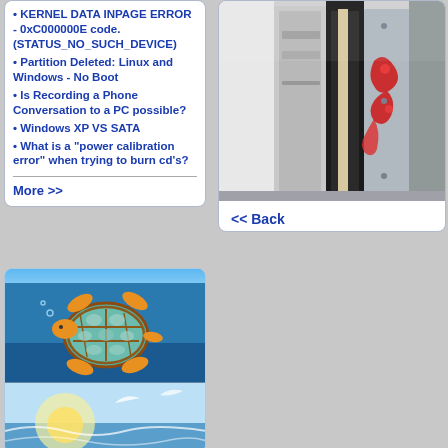KERNEL DATA INPAGE ERROR - 0xC000000E code. (STATUS_NO_SUCH_DEVICE)
Partition Deleted: Linux and Windows - No Boot
Is Recording a Phone Conversation to a PC possible?
Windows XP VS SATA
What is a "power calibration error" when trying to burn cd's?
More >>
[Figure (photo): Painting of a sea turtle swimming underwater with orange and teal colors]
[Figure (photo): Close-up photo of computer tower/case panels in silver and black with decorative red swirl design]
<< Back